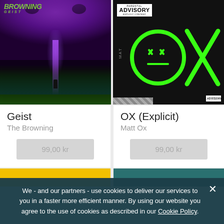[Figure (photo): Album cover for Geist by The Browning - dark purple fantasy art with skull, purple clouds, and lone figure standing before glowing castle]
[Figure (photo): Album cover for OX (Explicit) by Matt Ox - dark black background with neon green graffiti-style OX face, Parental Advisory label]
Geist
The Browning
99,00 kr
OX (Explicit)
Matt Ox
99,00 kr
[Figure (other): Partially visible album cover with yellow background at bottom left]
[Figure (other): Partially visible album with teal background at bottom right]
We - and our partners - use cookies to deliver our services to you in a faster more efficient manner. By using our website you agree to the use of cookies as described in our Cookie Policy.